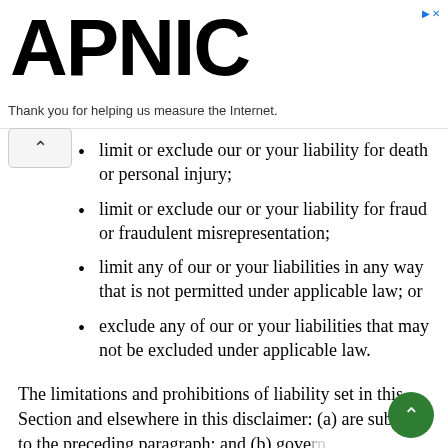APNIC — Thank you for helping us measure the Internet.
limit or exclude our or your liability for death or personal injury;
limit or exclude our or your liability for fraud or fraudulent misrepresentation;
limit any of our or your liabilities in any way that is not permitted under applicable law; or
exclude any of our or your liabilities that may not be excluded under applicable law.
The limitations and prohibitions of liability set in this Section and elsewhere in this disclaimer: (a) are subject to the preceding paragraph; and (b) govern all liabilities arising under the disclaimer, including